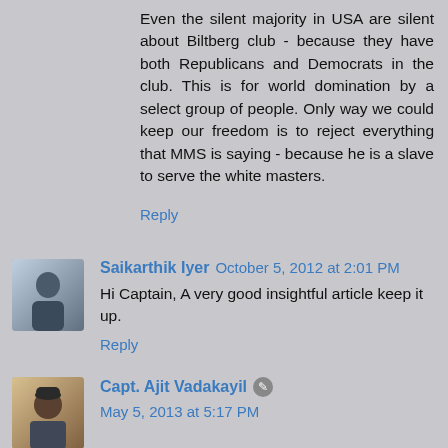Even the silent majority in USA are silent about Biltberg club - because they have both Republicans and Democrats in the club. This is for world domination by a select group of people. Only way we could keep our freedom is to reject everything that MMS is saying - because he is a slave to serve the white masters.
Reply
Saikarthik Iyer  October 5, 2012 at 2:01 PM
Hi Captain, A very good insightful article keep it up.
Reply
Capt. Ajit Vadakayil  May 5, 2013 at 5:17 PM
AmanJit Singh
May 2, 2013 at 12:03 PM